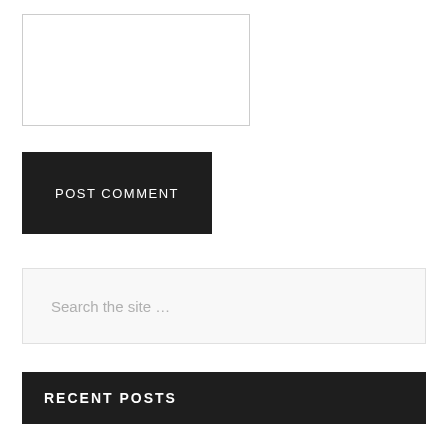[Figure (screenshot): Empty textarea input box with light gray border]
POST COMMENT
Search the site ...
RECENT POSTS
How Inflation will separate the strong marketing companies from the weak
Ravi Shastri- The most versatile player in the cricket